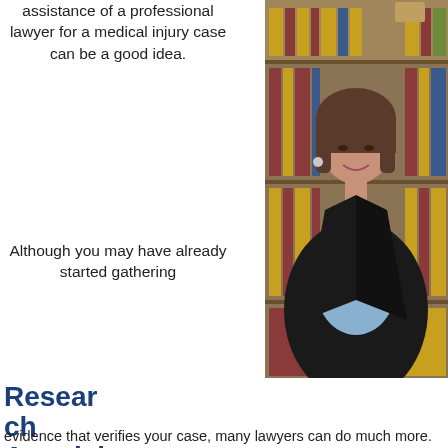assistance of a professional lawyer for a medical injury case can be a good idea.
[Figure (photo): Professional woman in a dark blazer and light blue shirt standing in front of bookshelves filled with law books, smiling at the camera.]
Research Acquisition
Although you may have already started gathering evidence that verifies your case, many lawyers can do much more.